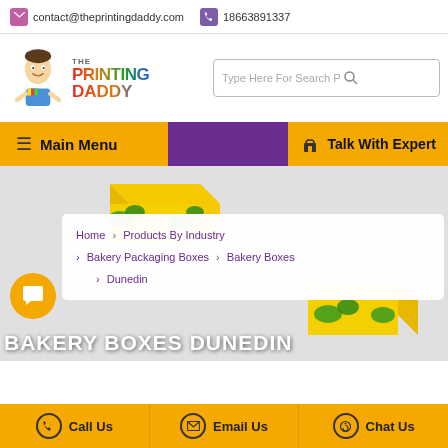contact@theprintingdaddy.com   18663891337
[Figure (logo): The Printing Daddy logo with cartoon mascot character]
Type Here For Search P
Main Menu
Talk With Expert
[Figure (photo): Yellow and green bakery packaging boxes product image]
Home > Products By Industry > Bakery Packaging Boxes > Bakery Boxes > Dunedin
BAKERY BOXES DUNEDIN
Call Us   Email Us   Chat Us